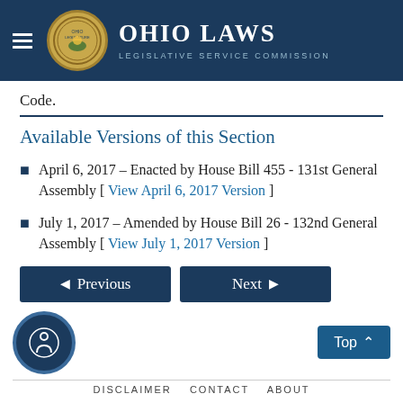Ohio Laws Legislative Service Commission
Code.
Available Versions of this Section
April 6, 2017 – Enacted by House Bill 455 - 131st General Assembly [ View April 6, 2017 Version ]
July 1, 2017 – Amended by House Bill 26 - 132nd General Assembly [ View July 1, 2017 Version ]
DISCLAIMER   CONTACT   ABOUT